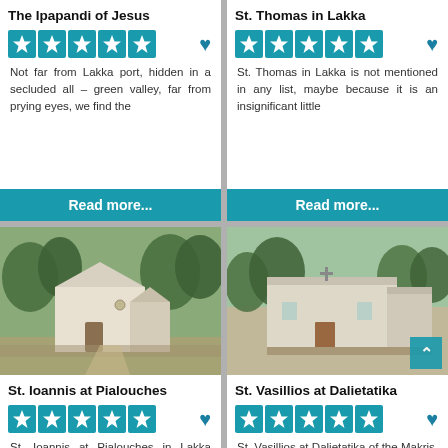The Ipapandi of Jesus
[Figure (other): Five-star rating with teal background stars]
Not far from Lakka port, hidden in a secluded all – green valley, far from prying eyes, we find the
Read more...
St. Thomas in Lakka
[Figure (other): Five-star rating with teal background stars]
St. Thomas in Lakka is not mentioned in any list, maybe because it is an insignificant little
Read more...
[Figure (photo): Photo of a white chapel building St. Ioannis at Pialouches surrounded by trees]
St. Ioannis at Pialouches
[Figure (other): Five-star rating with teal background stars]
St. Ioannis at Pialouches in Lakka belongs to the Grammatikos, Petros, Aronis, Argyros and
Read more...
[Figure (photo): Photo of a white church building St. Vasillios at Dalietatika surrounded by trees]
St. Vasillios at Dalietatika
[Figure (other): Five-star rating with teal background stars]
St. Vasillios at Dalietatika of the Makris, Mastoras, Argyros and Grammatikos families; listed in
Read more...